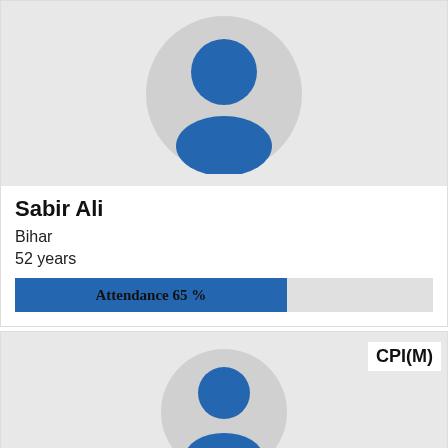[Figure (illustration): Default user profile avatar icon in blue on grey background]
Sabir Ali
Bihar
52 years
[Figure (infographic): Attendance bar showing 65%]
Attendance 65 %
[Figure (illustration): Second profile card with CPI(M) party label and partial avatar]
CPI(M)